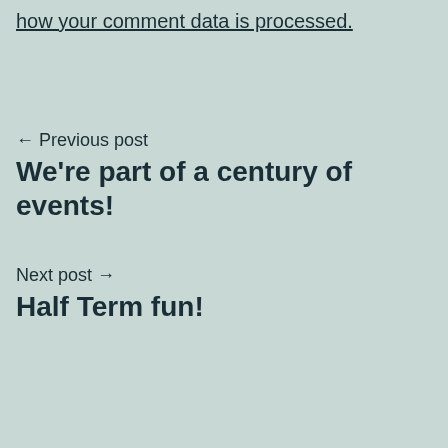how your comment data is processed.
← Previous post
We're part of a century of events!
Next post →
Half Term fun!